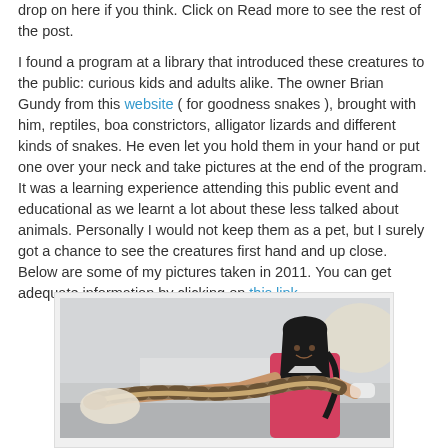drop on here if you think. Click on Read more to see the rest of the post.
I found a program at a library that introduced these creatures to the public: curious kids and adults alike. The owner Brian Gundy from this website ( for goodness snakes ), brought with him, reptiles, boa constrictors, alligator lizards and different kinds of snakes. He even let you hold them in your hand or put one over your neck and take pictures at the end of the program. It was a learning experience attending this public event and educational as we learnt a lot about these less talked about animals. Personally I would not keep them as a pet, but I surely got a chance to see the creatures first hand and up close. Below are some of my pictures taken in 2011. You can get adequate information by clicking on this link.
[Figure (photo): A young girl holding a large snake (boa constrictor) stretched across her arms in what appears to be a library or classroom setting. She is smiling and wearing a pink top.]